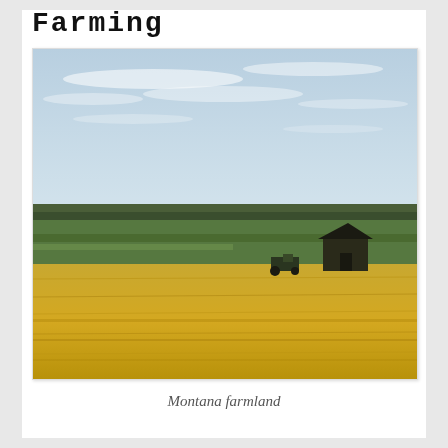Farming
[Figure (photo): Montana farmland photograph showing golden wheat fields in the foreground, a lone barn and farm equipment in the middle ground, rolling green fields, and a pale blue sky with light clouds in the background.]
Montana farmland